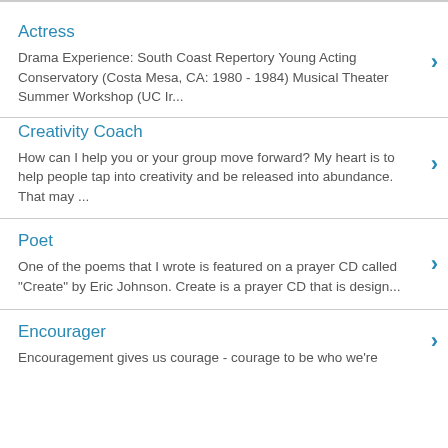Actress
Drama Experience: South Coast Repertory Young Acting Conservatory (Costa Mesa, CA: 1980 - 1984) Musical Theater Summer Workshop (UC Ir...
Creativity Coach
How can I help you or your group move forward? My heart is to help people tap into creativity and be released into abundance. That may ...
Poet
One of the poems that I wrote is featured on a prayer CD called "Create" by Eric Johnson. Create is a prayer CD that is design...
Encourager
Encouragement gives us courage - courage to be who we're